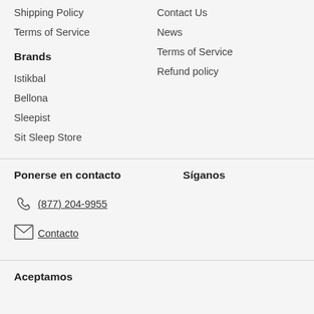Shipping Policy
Terms of Service
Contact Us
News
Terms of Service
Refund policy
Brands
Istikbal
Bellona
Sleepist
Sit Sleep Store
Ponerse en contacto
Síganos
(877) 204-9955
Contacto
Aceptamos